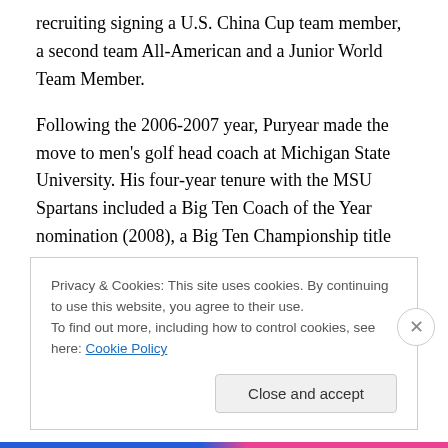recruiting signing a U.S. China Cup team member, a second team All-American and a Junior World Team Member.
Following the 2006-2007 year, Puryear made the move to men's golf head coach at Michigan State University. His four-year tenure with the MSU Spartans included a Big Ten Coach of the Year nomination (2008), a Big Ten Championship title (2008), and one NCAA East Region Championship appearance (2008). In addition to team accomplishments, Puryear's MSU teams registered nine
Privacy & Cookies: This site uses cookies. By continuing to use this website, you agree to their use.
To find out more, including how to control cookies, see here: Cookie Policy
Close and accept